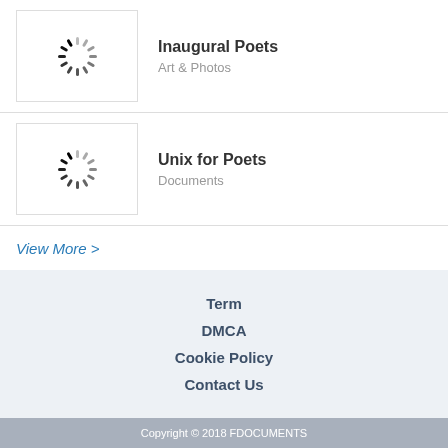[Figure (illustration): Loading spinner icon (circular dashed loading indicator)]
Inaugural Poets
Art & Photos
[Figure (illustration): Loading spinner icon (circular dashed loading indicator)]
Unix for Poets
Documents
View More >
Term
DMCA
Cookie Policy
Contact Us
Copyright © 2018 FDOCUMENTS